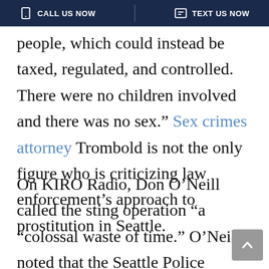CALL US NOW   TEXT US NOW
people, which could instead be taxed, regulated, and controlled. There were no children involved and there was no sex.” Sex crimes attorney Trombold is not the only figure who is criticizing law enforcement’s approach to prostitution in Seattle.
On KIRO Radio, Don O’Neill called the sting operation “a “colossal waste of time.” O’Neill noted that the Seattle Police Department is understaffed by more than